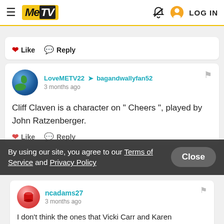MeTV - LOG IN
Like  Reply
LoveMETV22 → bagandwallyfan52
3 months ago
Cliff Claven is a character on " Cheers ", played by John Ratzenberger.
Like  Reply
By using our site, you agree to our Terms of Service and Privacy Policy  Close
ncadams27
3 months ago
I don't think the ones that Vicki Carr and Karen